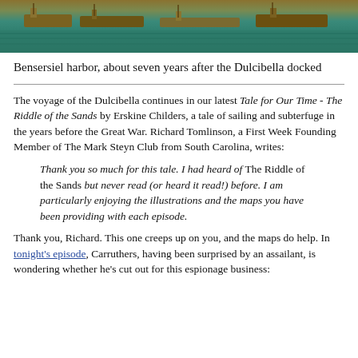[Figure (photo): Photograph of Bensersiel harbor showing boats and teal water, viewed from above]
Bensersiel harbor, about seven years after the Dulcibella docked
The voyage of the Dulcibella continues in our latest Tale for Our Time - The Riddle of the Sands by Erskine Childers, a tale of sailing and subterfuge in the years before the Great War. Richard Tomlinson, a First Week Founding Member of The Mark Steyn Club from South Carolina, writes:
Thank you so much for this tale. I had heard of The Riddle of the Sands but never read (or heard it read!) before. I am particularly enjoying the illustrations and the maps you have been providing with each episode.
Thank you, Richard. This one creeps up on you, and the maps do help. In tonight's episode, Carruthers, having been surprised by an assailant, is wondering whether he's cut out for this espionage business: